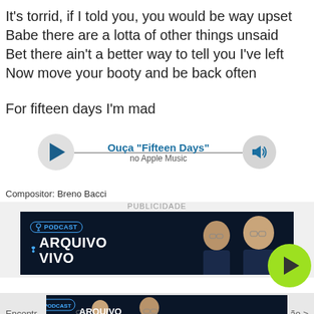It's torrid, if I told you, you would be way upset
Babe there are a lotta of other things unsaid
Bet there ain't a better way to tell you I've left
Now move your booty and be back often
For fifteen days I'm mad
[Figure (other): Audio player widget with play button, track title 'Ouça "Fifteen Days"', subtitle 'no Apple Music', and volume button]
Compositor: Breno Bacci
PUBLICIDADE
[Figure (photo): Advertisement banner for 'Arquivo Vivo' podcast featuring two men in suits on dark background, with a green play button overlay]
[Figure (photo): Second advertisement banner for 'Arquivo Vivo' podcast, partial view at bottom of page]